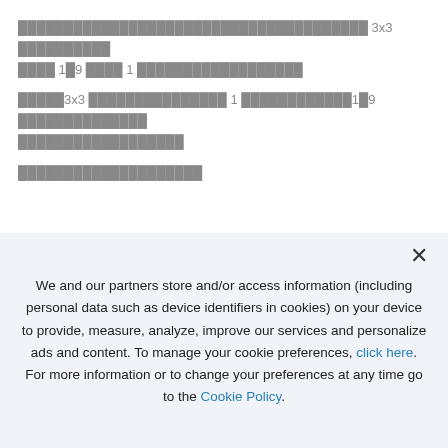██████████████████████████████████████ 3x3 ██████████ ████ 1█9 ████ 1 ██████████████████
█████3x3 ███████████████ 1 ████████████1█9 ██████████████ ██████████████████
████████████████████
[Figure (other): A partial row of grid/table cells: first 3 cells outlined in blue containing numbers 1, 2, 3; remaining cells are grey/unfilled]
We and our partners store and/or access information (including personal data such as device identifiers in cookies) on your device to provide, measure, analyze, improve our services and personalize ads and content. To manage your cookie preferences, click here. For more information or to change your preferences at any time go to the Cookie Policy.